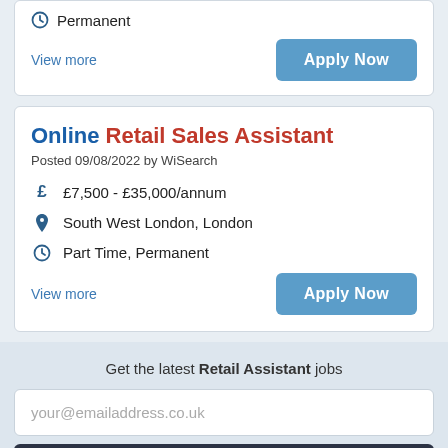Permanent
View more
Online Retail Sales Assistant
Posted 09/08/2022 by WiSearch
£7,500 - £35,000/annum
South West London, London
Part Time, Permanent
View more
Get the latest Retail Assistant jobs
your@emailaddress.co.uk
Email me jobs like these